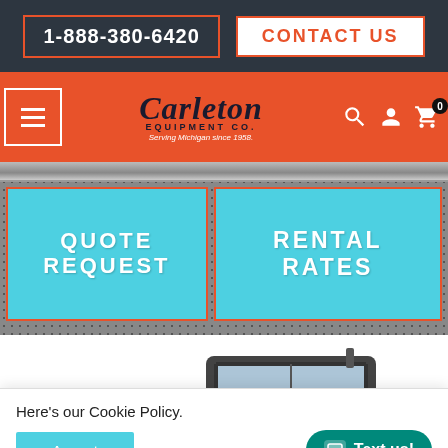1-888-380-6420  CONTACT US
[Figure (logo): Carleton Equipment Co. logo with text 'Serving Michigan since 1958.' on orange background with hamburger menu, search, account, and cart icons]
[Figure (screenshot): Dark metal perforated background with two cyan/teal call-to-action buttons: QUOTE REQUEST and RENTAL RATES, both with orange borders]
[Figure (photo): Partial view of a compact utility tractor or skid steer with enclosed cab, white and black coloring, visible on white background]
Here's our Cookie Policy.
Accept
Text us!